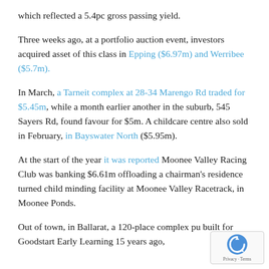which reflected a 5.4pc gross passing yield.
Three weeks ago, at a portfolio auction event, investors acquired asset of this class in Epping ($6.97m) and Werribee ($5.7m).
In March, a Tarneit complex at 28-34 Marengo Rd traded for $5.45m, while a month earlier another in the suburb, 545 Sayers Rd, found favour for $5m. A childcare centre also sold in February, in Bayswater North ($5.95m).
At the start of the year it was reported Moonee Valley Racing Club was banking $6.61m offloading a chairman's residence turned child minding facility at Moonee Valley Racetrack, in Moonee Ponds.
Out of town, in Ballarat, a 120-place complex pu built for Goodstart Early Learning 15 years ago,